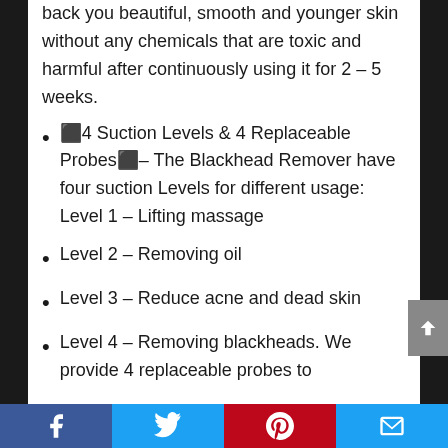back you beautiful, smooth and younger skin without any chemicals that are toxic and harmful after continuously using it for 2 – 5 weeks.
⬛4 Suction Levels & 4 Replaceable Probes⬛– The Blackhead Remover have four suction Levels for different usage: Level 1 – Lifting massage
Level 2 – Removing oil
Level 3 – Reduce acne and dead skin
Level 4 – Removing blackheads. We provide 4 replaceable probes to